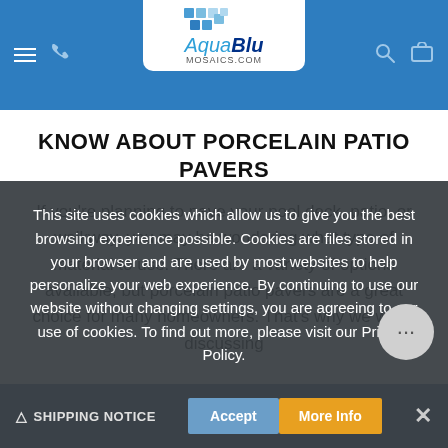AquaBlu Mosaics.com — site header with navigation icons
KNOW ABOUT PORCELAIN PATIO PAVERS
If you're planning to pave your pool deck, patio, or walkway, you may be wondering what type of material to use. There are a variety of options available, but porcelain patio pavers are a great choice for many homeowners. That's why we we're discussing
This site uses cookies which allow us to give you the best browsing experience possible. Cookies are files stored in your browser and are used by most websites to help personalize your web experience. By continuing to use our website without changing settings, you are agreeing to our use of cookies. To find out more, please visit our Privacy Policy.
△ SHIPPING NOTICE   Accept   More Info   ×